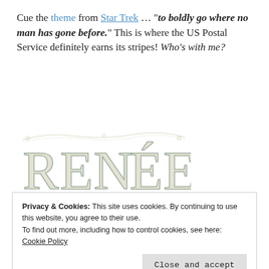Cue the theme from Star Trek … "to boldly go where no man has gone before." This is where the US Postal Service definitely earns its stripes! Who's with me?
[Figure (illustration): Decorative signature illustration spelling 'RENÉE' in ornate vintage typographic lettering with floral and scroll embellishments, in muted teal/olive tones.]
Share this:
[Figure (infographic): Social sharing icon buttons: Twitter (blue circle with bird icon), Facebook (dark blue circle with f icon), LinkedIn (blue circle with in icon), Pinterest (red circle with P icon), Email (grey circle with envelope icon).]
Privacy & Cookies: This site uses cookies. By continuing to use this website, you agree to their use.
To find out more, including how to control cookies, see here:
Cookie Policy

Close and accept